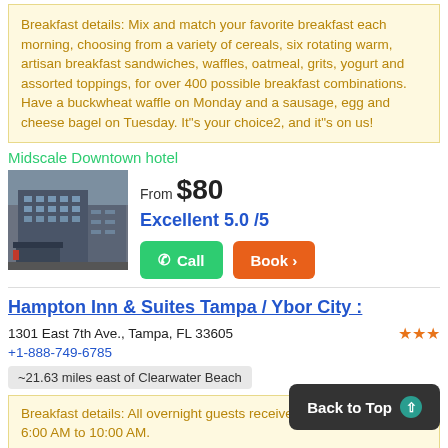Breakfast details: Mix and match your favorite breakfast each morning, choosing from a variety of cereals, six rotating warm, artisan breakfast sandwiches, waffles, oatmeal, grits, yogurt and assorted toppings, for over 400 possible breakfast combinations. Have a buckwheat waffle on Monday and a sausage, egg and cheese bagel on Tuesday. It"s your choice2, and it"s on us!
Midscale Downtown hotel
[Figure (photo): Photo of a modern hotel building exterior with dark facade]
From $80
Excellent 5.0 /5
Call
Book >
Hampton Inn & Suites Tampa / Ybor City :
1301 East 7th Ave., Tampa, FL 33605
+1-888-749-6785
~21.63 miles east of Clearwater Beach
Breakfast details: All overnight guests receive breakfast daily from 6:00 AM to 10:00 AM.